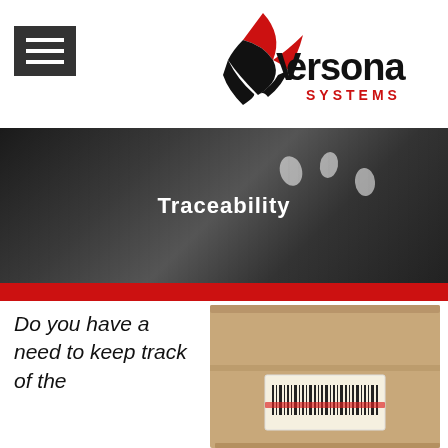[Figure (logo): Versona Systems logo with red and black star/arrow shape and text 'Versona SYSTEMS']
[Figure (illustration): Hamburger menu icon (three horizontal white lines on dark background)]
[Figure (photo): Dark asphalt/road surface with white footprint markings, banner image]
Traceability
Do you have a need to keep track of the
[Figure (photo): Cardboard box with barcode label being scanned with red laser light]